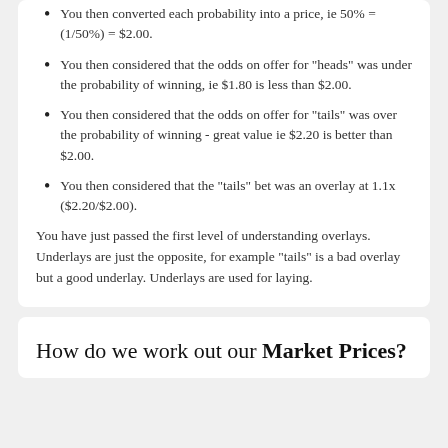You then converted each probability into a price, ie 50% = (1/50%) = $2.00.
You then considered that the odds on offer for "heads" was under the probability of winning, ie $1.80 is less than $2.00.
You then considered that the odds on offer for "tails" was over the probability of winning - great value ie $2.20 is better than $2.00.
You then considered that the "tails" bet was an overlay at 1.1x ($2.20/$2.00).
You have just passed the first level of understanding overlays. Underlays are just the opposite, for example "tails" is a bad overlay but a good underlay. Underlays are used for laying.
How do we work out our Market Prices?